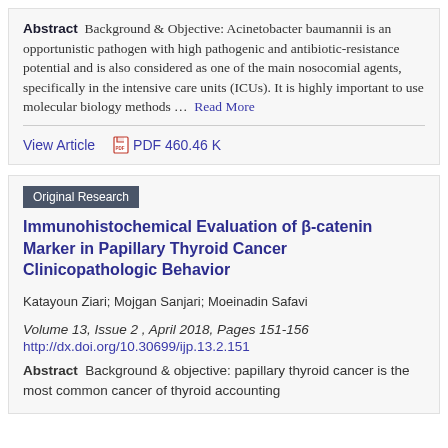Abstract  Background & Objective: Acinetobacter baumannii is an opportunistic pathogen with high pathogenic and antibiotic-resistance potential and is also considered as one of the main nosocomial agents, specifically in the intensive care units (ICUs). It is highly important to use molecular biology methods … Read More
View Article   PDF 460.46 K
Original Research
Immunohistochemical Evaluation of β-catenin Marker in Papillary Thyroid Cancer Clinicopathologic Behavior
Katayoun Ziari; Mojgan Sanjari; Moeinadin Safavi
Volume 13, Issue 2 , April 2018, Pages 151-156
http://dx.doi.org/10.30699/ijp.13.2.151
Abstract  Background & objective: papillary thyroid cancer is the most common cancer of thyroid accounting